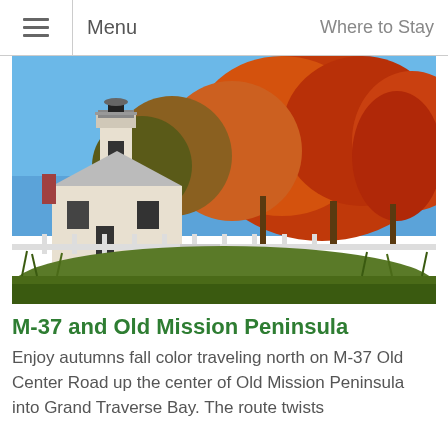Menu | Where to Stay
[Figure (photo): A white lighthouse and keeper's house surrounded by vibrant autumn orange and red foliage under a blue sky, with a wooden fence and grassy hillside in the foreground.]
M-37 and Old Mission Peninsula
Enjoy autumns fall color traveling north on M-37 Old Center Road up the center of Old Mission Peninsula into Grand Traverse Bay. The route twists